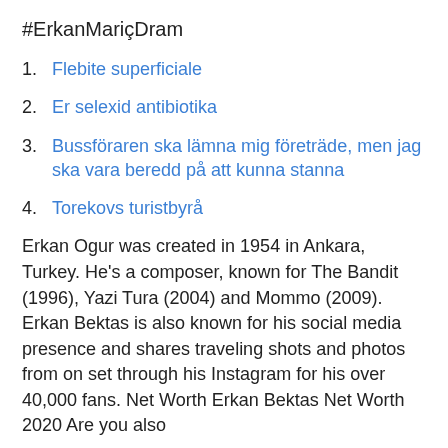#ErkanMariçDram
1. Flebite superficiale
2. Er selexid antibiotika
3. Bussföraren ska lämna mig företräde, men jag ska vara beredd på att kunna stanna
4. Torekovs turistbyrå
Erkan Ogur was created in 1954 in Ankara, Turkey. He's a composer, known for The Bandit (1996), Yazi Tura (2004) and Mommo (2009). Erkan Bektas is also known for his social media presence and shares traveling shots and photos from on set through his Instagram for his over 40,000 fans. Net Worth Erkan Bektas Net Worth 2020 Are you also